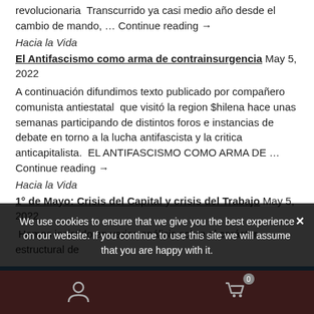revolucionaria  Transcurrido ya casi medio año desde el cambio de mando, … Continue reading →
Hacia la Vida
El Antifascismo como arma de contrainsurgencia  May 5, 2022
A continuación difundimos texto publicado por compañero comunista antiestatal  que visitó la region $hilena hace unas semanas participando de distintos foros e instancias de debate en torno a la lucha antifascista y la critica anticapitalista.  EL ANTIFASCISMO COMO ARMA DE … Continue reading →
Hacia la Vida
1° de Mayo: Crisis del Capital y crisis del Trabajo  May 5, 2022
Hemos insistido en varios análisis sobre el carácter estructural de
ⓘ On February 1, 2021, Our Online-Shop will be closed. All orders until January 31 will be delivered
Dismiss
We use cookies to ensure that we give you the best experience on our website. If you continue to use this site we will assume that you are happy with it.
Ok